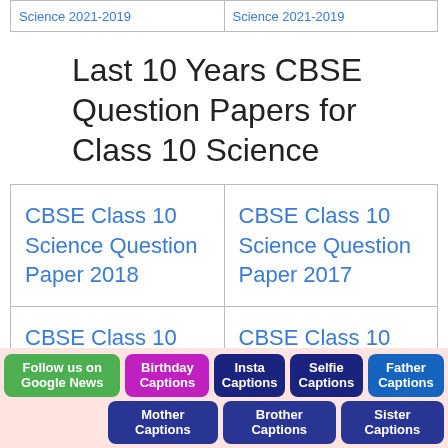|  |  |
| --- | --- |
| CBSE Class 10 Science Question Paper (truncated) | CBSE Class 10 Science Question Paper (truncated) |
Last 10 Years CBSE Question Papers for Class 10 Science
| Col1 | Col2 |
| --- | --- |
| CBSE Class 10 Science Question Paper 2018 | CBSE Class 10 Science Question Paper 2017 |
| CBSE Class 10 Science Question Paper 2016 | CBSE Class 10 Science Question Paper 2015 |